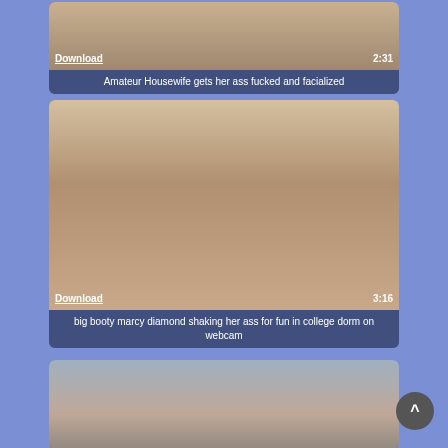[Figure (screenshot): Video thumbnail card 1: Amateur Housewife video with Download link and duration 2:31]
Amateur Housewife gets her ass fucked and facialized
[Figure (screenshot): Video thumbnail card 2: big booty marcy diamond video with Download link and duration 3:16]
big booty marcy diamond shaking her ass for fun in college dorm on webcam
[Figure (screenshot): Video thumbnail card 3: partial thumbnail of woman in car]